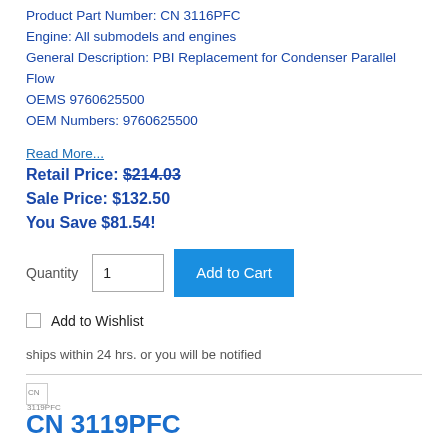Product Part Number: CN 3116PFC
Engine: All submodels and engines
General Description: PBI Replacement for Condenser Parallel Flow
OEMS 9760625500
OEM Numbers: 9760625500
Read More...
Retail Price: $214.03
Sale Price: $132.50
You Save $81.54!
Quantity
Add to Cart
Add to Wishlist
ships within 24 hrs. or you will be notified
CN 3119PFC
CN 3119PFC